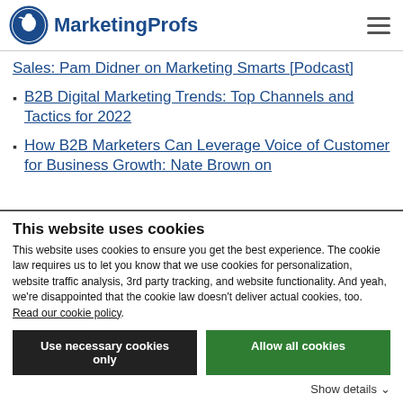MarketingProfs
Sales: Pam Didner on Marketing Smarts [Podcast]
B2B Digital Marketing Trends: Top Channels and Tactics for 2022
How B2B Marketers Can Leverage Voice of Customer for Business Growth: Nate Brown on
This website uses cookies
This website uses cookies to ensure you get the best experience. The cookie law requires us to let you know that we use cookies for personalization, website traffic analysis, 3rd party tracking, and website functionality. And yeah, we're disappointed that the cookie law doesn't deliver actual cookies, too. Read our cookie policy.
Use necessary cookies only | Allow all cookies
Show details